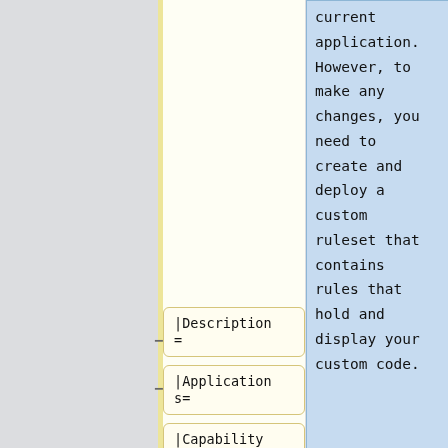current application. However, to make any changes, you need to create and deploy a custom ruleset that contains rules that hold and display your custom code.
|Description =
|Applications=
|Capability